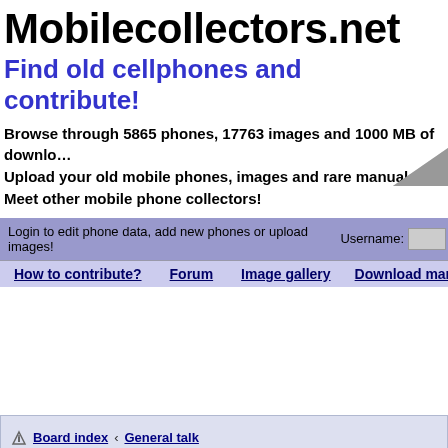Mobilecollectors.net
Find old cellphones and contribute!
Browse through 5865 phones, 17763 images and 1000 MB of downloads!
Upload your old mobile phones, images and rare manuals!
Meet other mobile phone collectors!
Login to edit phone data, add new phones or upload images!  Username:
How to contribute?   Forum   Image gallery   Download manuals
Board index › General talk
Unlock Old Motorola GSM Phones [Mic…
POSTREPLY   Search this topic...   Search